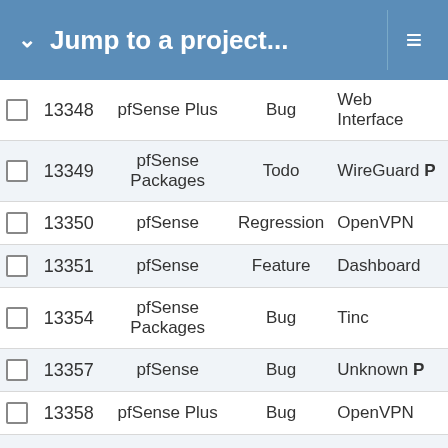Jump to a project...
|  | # | Project | Type | Category |
| --- | --- | --- | --- | --- |
|  | 13348 | pfSense Plus | Bug | Web Interface |
|  | 13349 | pfSense Packages | Todo | WireGuard P |
|  | 13350 | pfSense | Regression | OpenVPN |
|  | 13351 | pfSense | Feature | Dashboard |
|  | 13354 | pfSense Packages | Bug | Tinc |
|  | 13357 | pfSense | Bug | Unknown P |
|  | 13358 | pfSense Plus | Bug | OpenVPN |
|  | 13360 | pfSense Packages | Bug | pfBlockerNG |